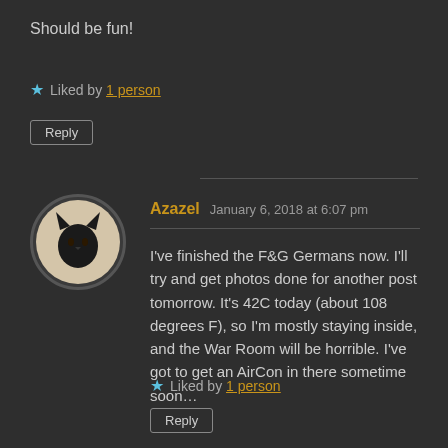Should be fun!
★ Liked by 1 person
Reply
[Figure (photo): Avatar image of a black cat silhouette on a light beige background, circular crop with dark border]
Azazel  January 6, 2018 at 6:07 pm
I've finished the F&G Germans now. I'll try and get photos done for another post tomorrow. It's 42C today (about 108 degrees F), so I'm mostly staying inside, and the War Room will be horrible. I've got to get an AirCon in there sometime soon…
★ Liked by 1 person
Reply